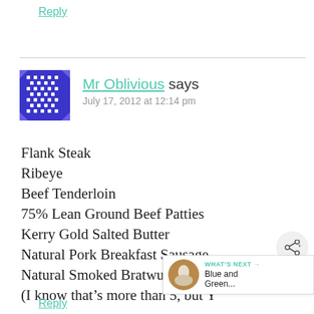Reply
Flank Steak
Ribeye
Beef Tenderloin
75% Lean Ground Beef Patties
Kerry Gold Salted Butter
Natural Pork Breakfast Sausage
Natural Smoked Bratwurst
(I know that's more than 5, but Y…
Reply